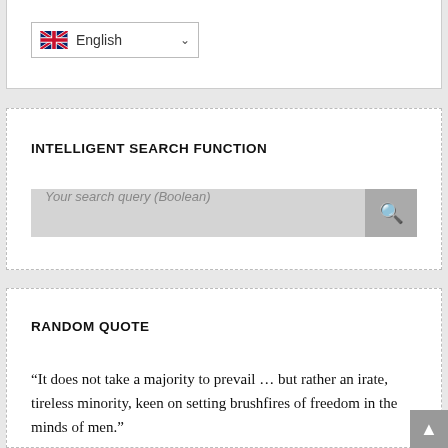[Figure (screenshot): Language selector dropdown showing UK flag and 'English' with a chevron]
INTELLIGENT SEARCH FUNCTION
[Figure (screenshot): Search input bar with placeholder text 'Your search query (Boolean)' and a search button]
RANDOM QUOTE
“It does not take a majority to prevail … but rather an irate, tireless minority, keen on setting brushfires of freedom in the minds of men.”